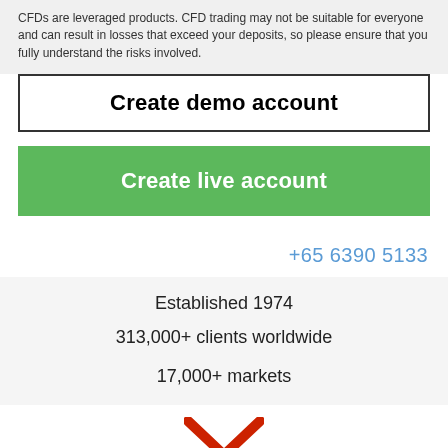CFDs are leveraged products. CFD trading may not be suitable for everyone and can result in losses that exceed your deposits, so please ensure that you fully understand the risks involved.
Create demo account
Create live account
+65 6390 5133
Established 1974
313,000+ clients worldwide
17,000+ markets
[Figure (illustration): Red downward chevron/arrow symbol at the bottom of the page]